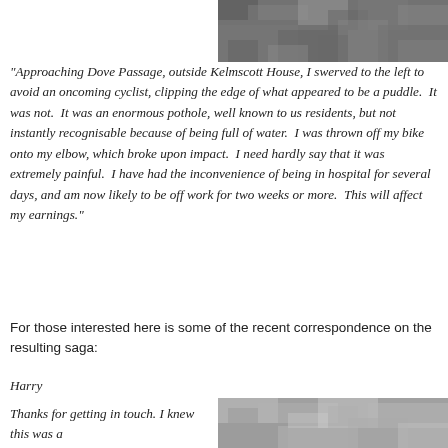[Figure (photo): Close-up photograph of a rough textured road surface or pothole, appearing dark grey and gravelly]
“Approaching Dove Passage, outside Kelmscott House, I swerved to the left to avoid an oncoming cyclist, clipping the edge of what appeared to be a puddle.  It was not.  It was an enormous pothole, well known to us residents, but not instantly recognisable because of being full of water.  I was thrown off my bike onto my elbow, which broke upon impact.  I need hardly say that it was extremely painful.  I have had the inconvenience of being in hospital for several days, and am now likely to be off work for two weeks or more.  This will affect my earnings.”
For those interested here is some of the recent correspondence on the resulting saga:
Harry
Thanks for getting in touch. I knew this was a
[Figure (photo): Close-up photograph of a road surface showing a pothole filled with water or damaged tarmac, appearing light grey and rough]